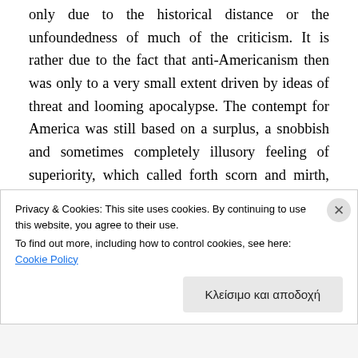only due to the historical distance or the unfoundedness of much of the criticism. It is rather due to the fact that anti-Americanism then was only to a very small extent driven by ideas of threat and looming apocalypse. The contempt for America was still based on a surplus, a snobbish and sometimes completely illusory feeling of superiority, which called forth scorn and mirth, but rarely alarm or blind hatred. This situation changes completely in the interwar years. The First World War had turned the traditional balance of power between the Old and the New World
Privacy & Cookies: This site uses cookies. By continuing to use this website, you agree to their use.
To find out more, including how to control cookies, see here: Cookie Policy
Κλείσιμο και αποδοχή